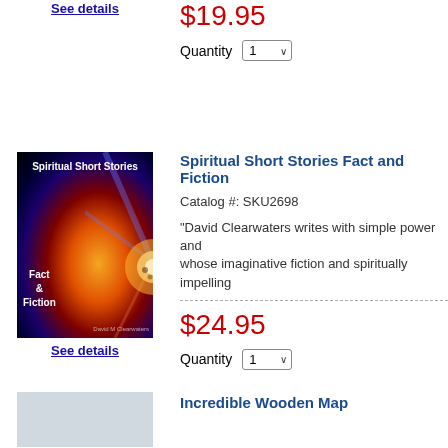See details
$19.95
Quantity 1
[Figure (photo): Book cover for Spiritual Short Stories Fact and Fiction showing cosmic explosion/star imagery on black background]
See details
Spiritual Short Stories Fact and Fiction
Catalog #: SKU2698
"David Clearwaters writes with simple power and whose imaginative fiction and spiritually impelling
$24.95
Quantity 1
Incredible Wooden Map